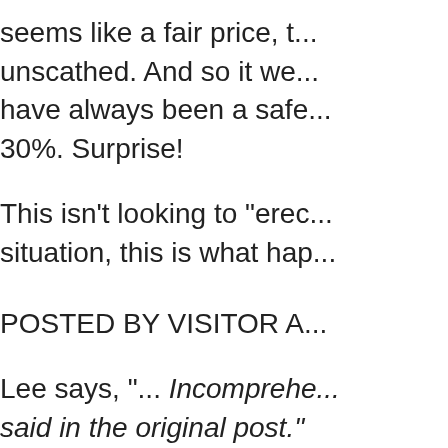seems like a fair price, t... unscathed. And so it we... have always been a safe... 30%. Surprise!
This isn't looking to "erec... situation, this is what hap...
POSTED BY VISITOR A...
Lee says, "... Incomprehe... said in the original post."
In his original post, Lee n... regulation propaganda e... possibility of a chance th... and the powerful."
It just got worse from the... justification for a dose of...